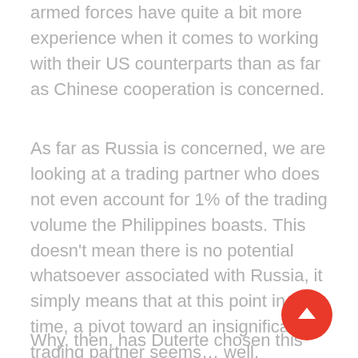armed forces have quite a bit more experience when it comes to working with their US counterparts than as far as Chinese cooperation is concerned.
As far as Russia is concerned, we are looking at a trading partner who does not even account for 1% of the trading volume the Philippines boasts. This doesn't mean there is no potential whatsoever associated with Russia, it simply means that at this point in time, a pivot toward an insignificant trading partner seems… well, confusing.
Why, then, has Duterte chosen this approach…